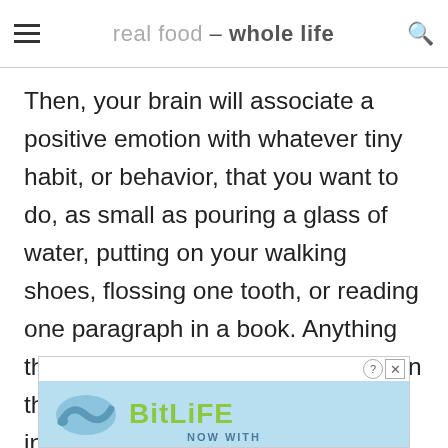real food – whole life
Then, your brain will associate a positive emotion with whatever tiny habit, or behavior, that you want to do, as small as pouring a glass of water, putting on your walking shoes, flossing one tooth, or reading one paragraph in a book. Anything that you want to be doing more of. In the appendix of his book, BJ includes lists of ways to celebrate and feel successful in such practical ways.
[Figure (screenshot): Advertisement banner for BitLife mobile game with light blue background, snake/logo graphic, and green 'BitLife' text with 'NOW WITH' subtitle partially visible]